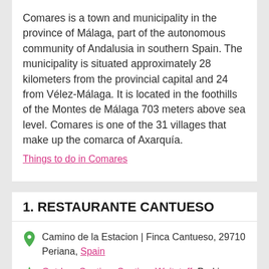Comares is a town and municipality in the province of Málaga, part of the autonomous community of Andalusia in southern Spain. The municipality is situated approximately 28 kilometers from the provincial capital and 24 from Vélez-Málaga. It is located in the foothills of the Montes de Málaga 703 meters above sea level. Comares is one of the 31 villages that make up the comarca of Axarquía. Things to do in Comares
1. RESTAURANTE CANTUESO
Camino de la Estacion | Finca Cantueso, 29710 Periana, Spain
Outdoor Seating, Seating, Waitstaff, Parking Available, Free Off-Street Parking, Highchairs Available,